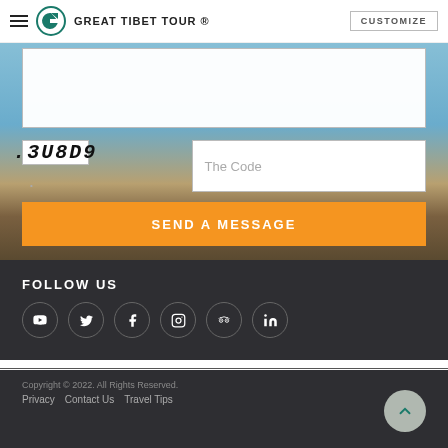GREAT TIBET TOUR ®  CUSTOMIZE
[Figure (screenshot): Captcha image showing code 3U8D9 in bold italic monospace font]
The Code
SEND A MESSAGE
FOLLOW US
[Figure (infographic): Social media icons in circles: YouTube, Twitter, Facebook, Instagram, TripAdvisor, LinkedIn]
Copyright © 2022. All Rights Reserved.  Privacy  Contact Us  Travel Tips